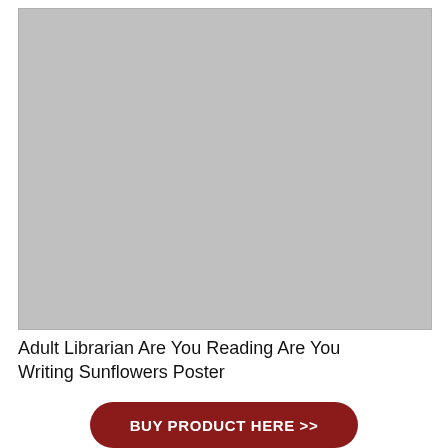[Figure (photo): Gray placeholder rectangle representing a product image of a poster]
Adult Librarian Are You Reading Are You Writing Sunflowers Poster
BUY PRODUCT HERE >>